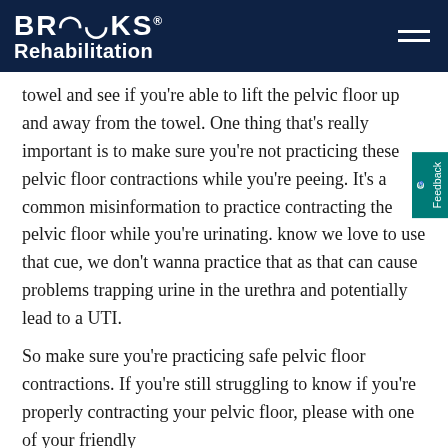BROOKS Rehabilitation
towel and see if you're able to lift the pelvic floor up and away from the towel. One thing that's really important is to make sure you're not practicing these pelvic floor contractions while you're peeing. It's a common misinformation to practice contracting the pelvic floor while you're urinating. know we love to use that cue, we don't wanna practice that as that can cause problems trapping urine in the urethra and potentially lead to a UTI.
So make sure you're practicing safe pelvic floor contractions. If you're still struggling to know if you're properly contracting your pelvic floor, please with one of your friendly